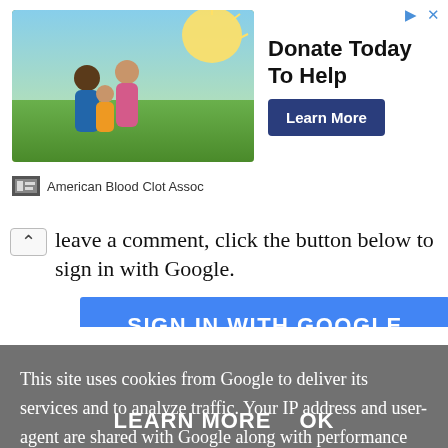[Figure (illustration): Advertisement banner: photo of a family outdoors in a sunny field; headline 'Donate Today To Help' with a 'Learn More' button; attribution 'American Blood Clot Assoc']
leave a comment, click the button below to sign in with Google.
[Figure (screenshot): Blue button labeled 'SIGN IN WITH GOOGLE']
This site uses cookies from Google to deliver its services and to analyze traffic. Your IP address and user-agent are shared with Google along with performance and security metrics to ensure quality of service, generate usage statistics, and to detect and address abuse.
LEARN MORE   OK